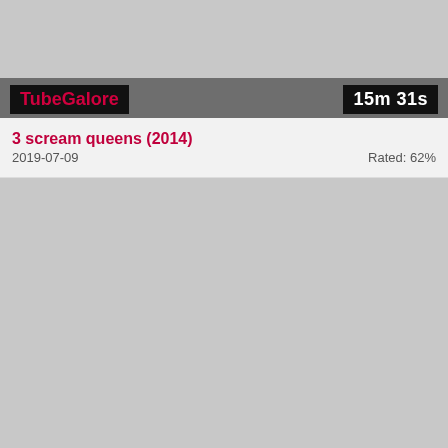[Figure (screenshot): Top video thumbnail area - gray placeholder]
TubeGalore   15m 31s
3 scream queens (2014)
2019-07-09   Rated: 62%
[Figure (screenshot): Bottom video player area - gray placeholder]